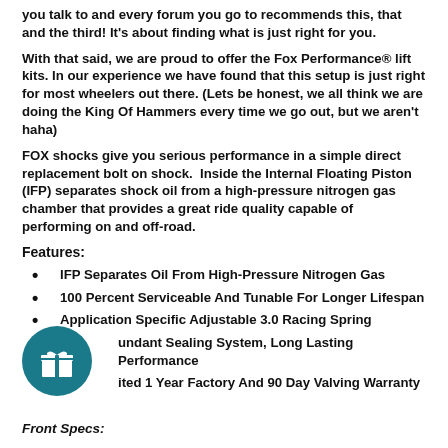you talk to and every forum you go to recommends this, that and the third! It's about finding what is just right for you.
With that said, we are proud to offer the Fox Performance® lift kits. In our experience we have found that this setup is just right for most wheelers out there. (Lets be honest, we all think we are doing the King Of Hammers every time we go out, but we aren't haha)
FOX shocks give you serious performance in a simple direct replacement bolt on shock.  Inside the Internal Floating Piston (IFP) separates shock oil from a high-pressure nitrogen gas chamber that provides a great ride quality capable of performing on and off-road.
Features:
IFP Separates Oil From High-Pressure Nitrogen Gas
100 Percent Serviceable And Tunable For Longer Lifespan
Application Specific Adjustable 3.0 Racing Spring
Redundant Sealing System, Long Lasting Performance
Limited 1 Year Factory And 90 Day Valving Warranty
Front Specs: